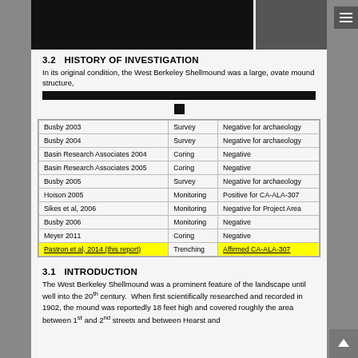[Figure (photo): Black redacted image at top of page]
3.2  HISTORY OF INVESTIGATION
In its original condition, the West Berkeley Shellmound was a large, ovate mound structure, [redacted text]
|  |  |  |
| --- | --- | --- |
| Busby 2003 | Survey | Negative for archaeology |
| Busby 2004 | Survey | Negative for archaeology |
| Basin Research Associates 2004 | Coring | Negative |
| Basin Research Associates 2005 | Coring | Negative |
| Busby 2005 | Survey | Negative for archaeology |
| Hoison 2005 | Monitoring | Positive for CA-ALA-307 |
| Sikes et al, 2006 | Monitoring | Negative for Project Area |
| Busby 2006 | Monitoring | Negative |
| Meyer 2011 | Coring | Negative |
| Pastron et al, 2014 (this report) | Trenching | Affirmed CA-ALA-307 |
3.1  INTRODUCTION
The West Berkeley Shellmound was a prominent feature of the landscape until well into the 20th century. When first scientifically researched and recorded in 1902, the mound was reportedly 18 feet high and covered roughly the area between 1st and 2nd streets and between Hearst and